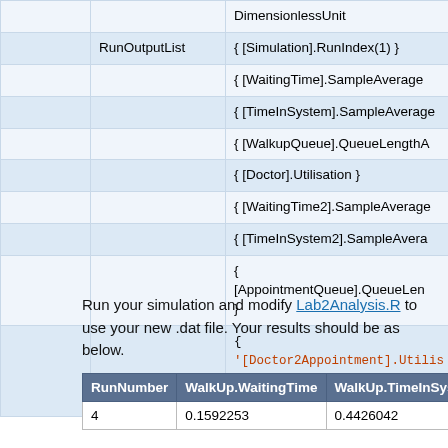|  |  |  |
| --- | --- | --- |
|  |  | DimensionlessUnit |
|  | RunOutputList | { [Simulation].RunIndex(1) } |
|  |  | { [WaitingTime].SampleAverage |
|  |  | { [TimeInSystem].SampleAverage |
|  |  | { [WalkupQueue].QueueLengthA |
|  |  | { [Doctor].Utilisation } |
|  |  | { [WaitingTime2].SampleAverage |
|  |  | { [TimeInSystem2].SampleAvera |
|  |  | {
[AppointmentQueue].QueueLen
} |
|  |  | { '[Doctor2Appointment].Utilis
[Doctor2Walkup].Utilisation' } |
Run your simulation and modify Lab2Analysis.R to use your new .dat file. Your results should be as below.
| RunNumber | WalkUp.WaitingTime | WalkUp.TimeInSystem | W |
| --- | --- | --- | --- |
| 4 | 0.1592253 | 0.4426042 | 0. |